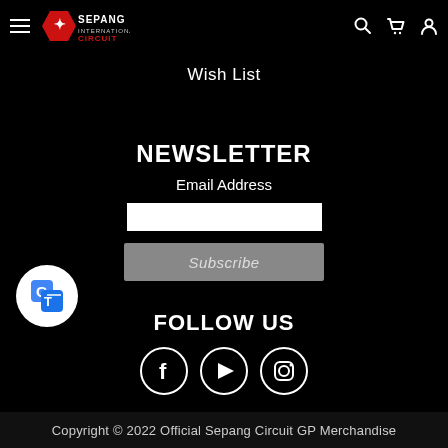Sepang International Circuit — Wish List
Wish List
NEWSLETTER
Email Address
Subscribe
FOLLOW US
[Figure (logo): Google Translate icon badge — white circle with blue/white Translate logo]
[Figure (infographic): Social media icons: Facebook (f), YouTube (play button), Instagram (camera) — white circles with white icons]
Copyright © 2022 Official Sepang Circuit GP Merchandise